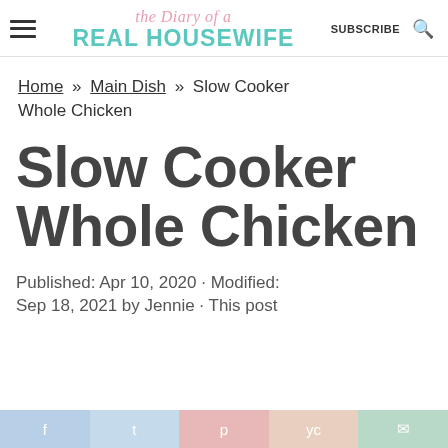the Diary of a REAL HOUSEWIFE | SUBSCRIBE
Home » Main Dish » Slow Cooker Whole Chicken
Slow Cooker Whole Chicken
Published: Apr 10, 2020 · Modified: Sep 18, 2021 by Jennie · This post